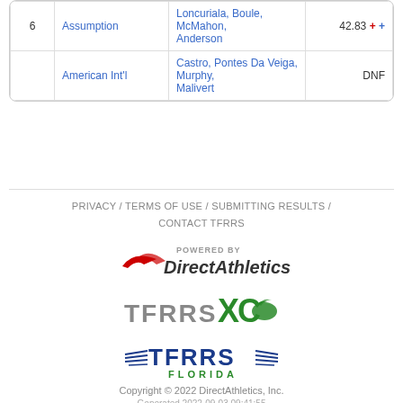| # | School | Athletes | Score |
| --- | --- | --- | --- |
| 6 | Assumption | Loncuriala, Boule, McMahon, Anderson | 42.83 + + |
|  | American Int'l | Castro, Pontes Da Veiga, Murphy, Malivert | DNF |
PRIVACY / TERMS OF USE / SUBMITTING RESULTS / CONTACT TFRRS
[Figure (logo): Powered by DirectAthletics logo]
[Figure (logo): TFRRS XC logo with winged foot]
[Figure (logo): TFRRS Florida logo with wings]
Copyright © 2022 DirectAthletics, Inc.
Generated 2022-09-03 09:41:55